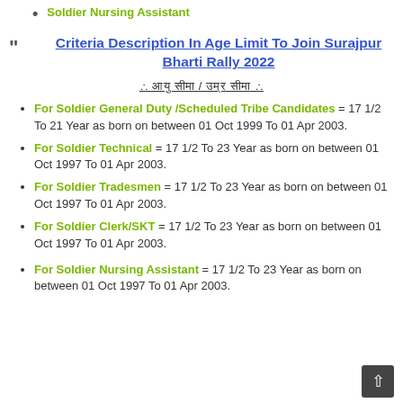Soldier Nursing Assistant
Criteria Description In Age Limit To Join Surajpur Bharti Rally 2022
∴ आयु सीमा / उम्र सीमा ∴
For Soldier General Duty /Scheduled Tribe Candidates = 17 1/2 To 21 Year as born on between 01 Oct 1999 To 01 Apr 2003.
For Soldier Technical = 17 1/2 To 23 Year as born on between 01 Oct 1997 To 01 Apr 2003.
For Soldier Tradesmen = 17 1/2 To 23 Year as born on between 01 Oct 1997 To 01 Apr 2003.
For Soldier Clerk/SKT = 17 1/2 To 23 Year as born on between 01 Oct 1997 To 01 Apr 2003.
For Soldier Nursing Assistant = 17 1/2 To 23 Year as born on between 01 Oct 1997 To 01 Apr 2003.